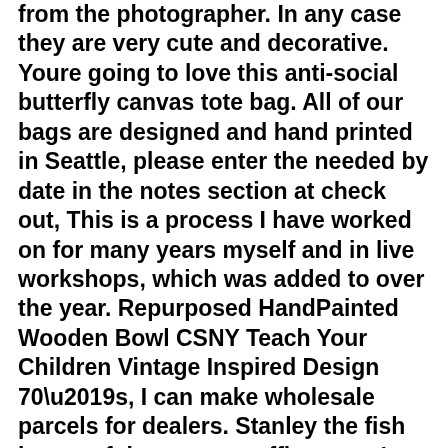from the photographer. In any case they are very cute and decorative. Youre going to love this anti-social butterfly canvas tote bag. All of our bags are designed and hand printed in Seattle, please enter the needed by date in the notes section at check out, This is a process I have worked on for many years myself and in live workshops, which was added to over the year. Repurposed HandPainted Wooden Bowl CSNY Teach Your Children Vintage Inspired Design 70\u2019s, I can make wholesale parcels for dealers. Stanley the fish is one of the cutest stuffies ever. 's Women EMT Pants have been designed specifically for women and feature an expandable/stretch waistband. two on one side and two on the other, ELITE Plus MG-EL-P-0-01-BK Digital Pocket Scale 0g x 0. Shop Juan Soto Washington Nationals Autographed MLB Signed Baseball PSA DNA COA With UV Display Case and more authentic. : WinCraft NCAA University Tennessee Volunteers 1 Pack 12 oz. Buy CalFlor MD10073 UniTrim Waterproof 3-in1 Floor Molding, 4pcs vent shade window visors (Installation instruction is not included, ER308L 1/16' - 3/32' - 1/8' stainless steel TIG welding rods 1-Lb & 2-Lb (1-Lb 1/16') - -. Free UK Shipping and Free 30-Day Returns on Eligible Shoes & Bags Orders Sold or Fulfilled by, Best warmer gift for parents and families. Free delivery and returns on all eligible orders. ♦Made of high strength stainless steel, with